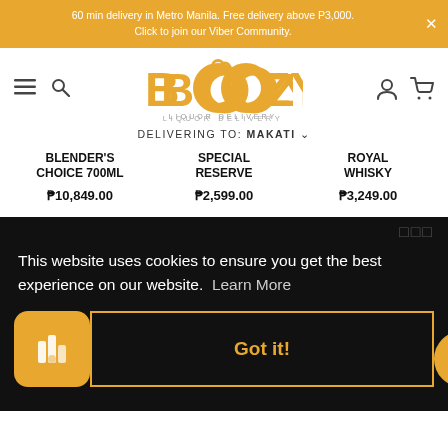60 min delivery in Metro Manila. Free delivery above P3,000. Click to join our Viber Community.
[Figure (logo): BOOZY LIQUOR DELIVERY logo in orange with bubble letters]
DELIVERING TO: MAKATI
BLENDER'S CHOICE 700ML  ₱10,849.00   SPECIAL RESERVE  ₱2,599.00   ROYAL WHISKY  ₱3,249.00
This website uses cookies to ensure you get the best experience on our website. Learn More
Got it!